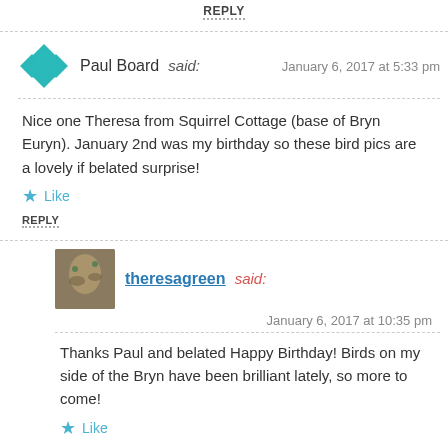REPLY
Paul Board said: January 6, 2017 at 5:33 pm
Nice one Theresa from Squirrel Cottage (base of Bryn Euryn). January 2nd was my birthday so these bird pics are a lovely if belated surprise!
Like
REPLY
theresagreen said: January 6, 2017 at 10:35 pm
Thanks Paul and belated Happy Birthday! Birds on my side of the Bryn have been brilliant lately, so more to come!
Like
REPLY